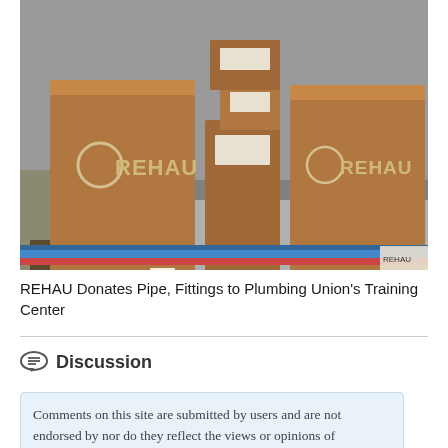[Figure (photo): Photograph of REHAU branded cardboard boxes stacked on a wooden warehouse cart/dolly with wheels, in an industrial setting. Blue and red pipes visible at the bottom of the image.]
REHAU Donates Pipe, Fittings to Plumbing Union's Training Center
Discussion
Comments on this site are submitted by users and are not endorsed by nor do they reflect the views or opinions of